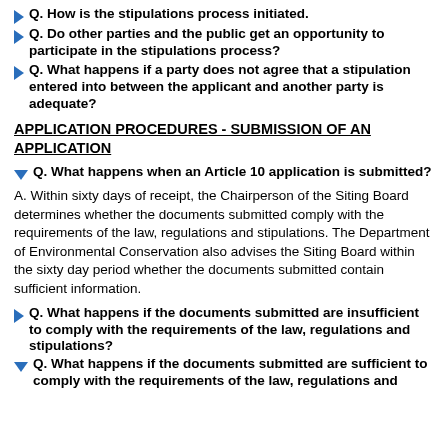Q. How is the stipulations process initiated?
Q. Do other parties and the public get an opportunity to participate in the stipulations process?
Q. What happens if a party does not agree that a stipulation entered into between the applicant and another party is adequate?
APPLICATION PROCEDURES - SUBMISSION OF AN APPLICATION
Q. What happens when an Article 10 application is submitted?
A. Within sixty days of receipt, the Chairperson of the Siting Board determines whether the documents submitted comply with the requirements of the law, regulations and stipulations. The Department of Environmental Conservation also advises the Siting Board within the sixty day period whether the documents submitted contain sufficient information.
Q. What happens if the documents submitted are insufficient to comply with the requirements of the law, regulations and stipulations?
Q. What happens if the documents submitted are sufficient to comply with the requirements of the law, regulations and